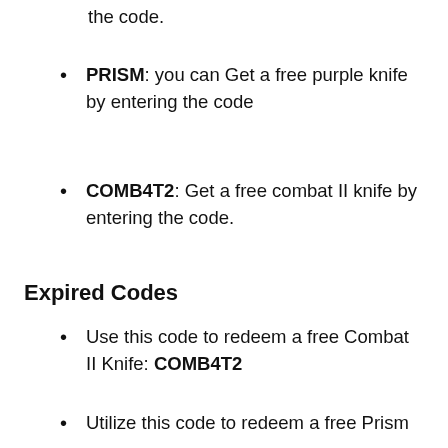the code.
PRISM: you can Get a free purple knife by entering the code
COMB4T2: Get a free combat II knife by entering the code.
Expired Codes
Use this code to redeem a free Combat II Knife: COMB4T2
Utilize this code to redeem a free Prism